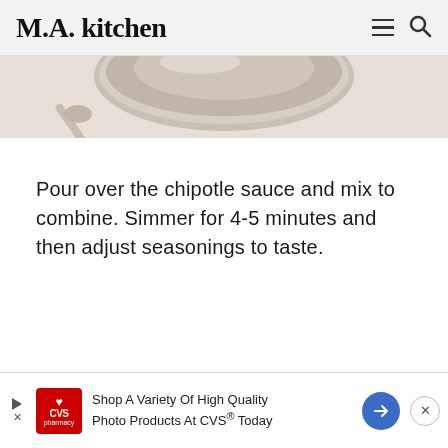M.A. kitchen
[Figure (photo): Close-up photo of a bowl with food and a spoon, shown from above, in warm beige tones]
Pour over the chipotle sauce and mix to combine. Simmer for 4-5 minutes and then adjust seasonings to taste.
[Figure (other): CVS Pharmacy advertisement: Shop A Variety Of High Quality Photo Products At CVS® Today]